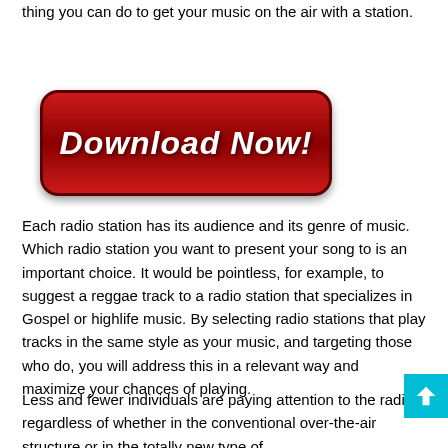thing you can do to get your music on the air with a station.
[Figure (illustration): A red rounded rectangle button with white italic cursive text reading 'Download Now!']
Each radio station has its audience and its genre of music. Which radio station you want to present your song to is an important choice. It would be pointless, for example, to suggest a reggae track to a radio station that specializes in Gospel or highlife music. By selecting radio stations that play tracks in the same style as your music, and targeting those who do, you will address this in a relevant way and maximize your chances of playing.
Less and fewer individuals are paying attention to the radio, regardless of whether in the conventional over-the-air structure or in the totally new type of